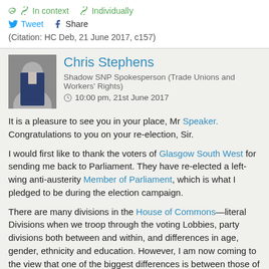In context   Individually
Tweet   Share
(Citation: HC Deb, 21 June 2017, c157)
Chris Stephens
Shadow SNP Spokesperson (Trade Unions and Workers' Rights)
10:00 pm, 21st June 2017
It is a pleasure to see you in your place, Mr Speaker. Congratulations to you on your re-election, Sir.
I would first like to thank the voters of Glasgow South West for sending me back to Parliament. They have re-elected a left-wing anti-austerity Member of Parliament, which is what I pledged to be during the election campaign.
There are many divisions in the House of Commons—literal Divisions when we troop through the voting Lobbies, party divisions both between and within, and differences in age, gender, ethnicity and education. However, I am now coming to the view that one of the biggest differences is between those of us who view social security as a right that should be administered with the utmost care for human